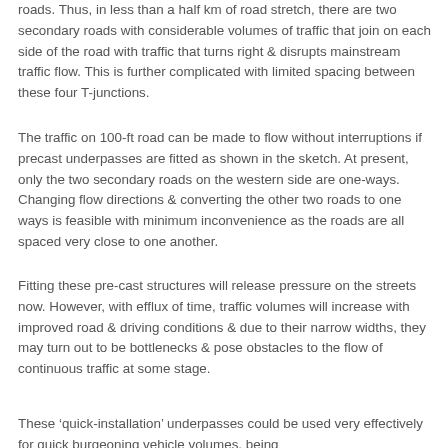roads. Thus, in less than a half km of road stretch, there are two secondary roads with considerable volumes of traffic that join on each side of the road with traffic that turns right & disrupts mainstream traffic flow. This is further complicated with limited spacing between these four T-junctions.
The traffic on 100-ft road can be made to flow without interruptions if precast underpasses are fitted as shown in the sketch. At present, only the two secondary roads on the western side are one-ways. Changing flow directions & converting the other two roads to one ways is feasible with minimum inconvenience as the roads are all spaced very close to one another.
Fitting these pre-cast structures will release pressure on the streets now. However, with efflux of time, traffic volumes will increase with improved road & driving conditions & due to their narrow widths, they may turn out to be bottlenecks & pose obstacles to the flow of continuous traffic at some stage.
These ‘quick-installation’ underpasses could be used very effectively for quick burgeoning vehicle volumes, being...